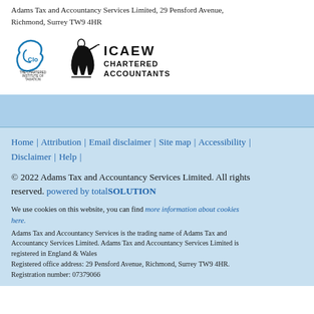Adams Tax and Accountancy Services Limited, 29 Pensford Avenue, Richmond, Surrey TW9 4HR
[Figure (logo): CIOT (Chartered Institute of Taxation) logo and ICAEW Chartered Accountants logo]
Home | Attribution | Email disclaimer | Site map | Accessibility | Disclaimer | Help |
© 2022 Adams Tax and Accountancy Services Limited. All rights reserved. powered by totalSOLUTION
We use cookies on this website, you can find more information about cookies here.
Adams Tax and Accountancy Services is the trading name of Adams Tax and Accountancy Services Limited. Adams Tax and Accountancy Services Limited is registered in England & Wales
Registered office address: 29 Pensford Avenue, Richmond, Surrey TW9 4HR.
Registration number: 07379066